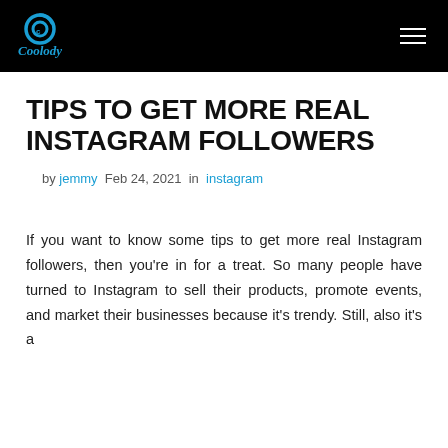Coolody
TIPS TO GET MORE REAL INSTAGRAM FOLLOWERS
by jemmy  Feb 24, 2021  in  instagram
If you want to know some tips to get more real Instagram followers, then you're in for a treat. So many people have turned to Instagram to sell their products, promote events, and market their businesses because it's trendy. Still, also it's a